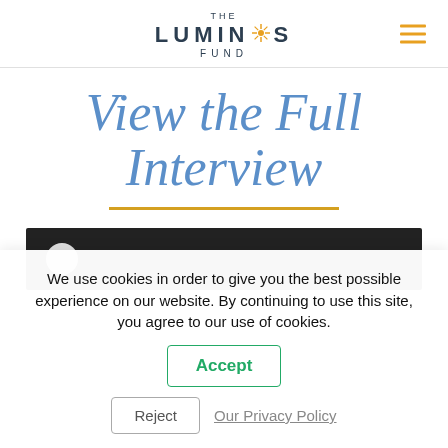THE LUMINOS FUND
View the Full Interview
[Figure (screenshot): Dark video thumbnail with play button at left side]
We use cookies in order to give you the best possible experience on our website. By continuing to use this site, you agree to our use of cookies.
Accept
Reject
Our Privacy Policy